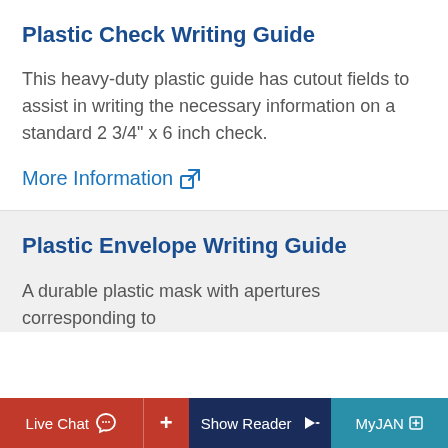Plastic Check Writing Guide
This heavy-duty plastic guide has cutout fields to assist in writing the necessary information on a standard 2 3/4" x 6 inch check.
More Information
Plastic Envelope Writing Guide
A durable plastic mask with apertures corresponding to
Live Chat  +  Show Reader  MyJAN